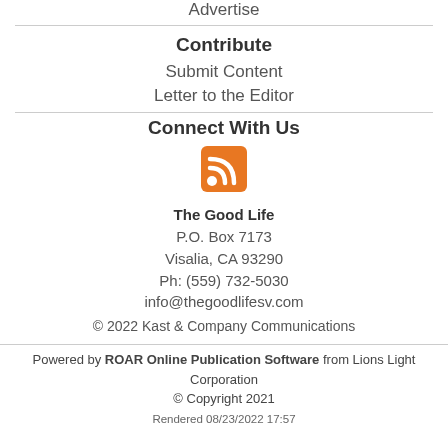Advertise
Contribute
Submit Content
Letter to the Editor
Connect With Us
[Figure (logo): RSS feed icon — orange square with white RSS signal waves]
The Good Life
P.O. Box 7173
Visalia, CA 93290
Ph: (559) 732-5030
info@thegoodlifesv.com
© 2022 Kast & Company Communications
Powered by ROAR Online Publication Software from Lions Light Corporation
© Copyright 2021
Rendered 08/23/2022 17:57